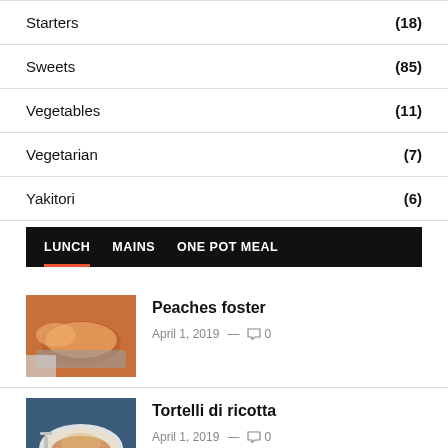Starters (18)
Sweets (85)
Vegetables (11)
Vegetarian (7)
Yakitori (6)
LUNCH   MAINS   ONE POT MEAL
Peaches foster
April 1, 2019  —  0
Tortelli di ricotta
April 1, 2019  —  0